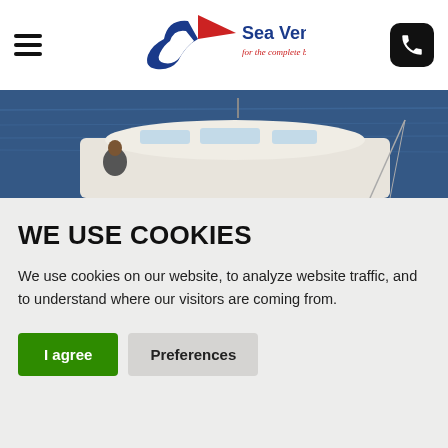Sea Ventures — for the complete boating experience
[Figure (photo): Photo of a white motorboat on blue water, showing the upper cabin/helm area, with a person visible. Sea Ventures website hero image.]
WE USE COOKIES
We use cookies on our website, to analyze website traffic, and to understand where our visitors are coming from.
I agree  Preferences